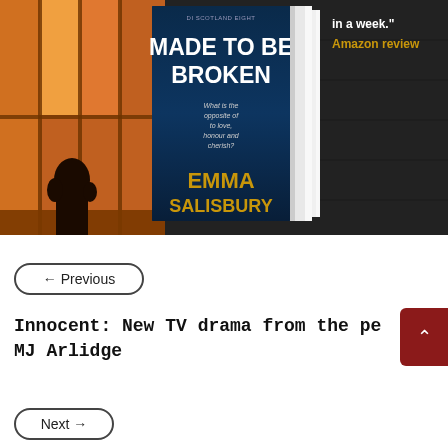[Figure (photo): Book cover for 'Made to Be Broken' by Emma Salisbury, shown as a 3D book mockup against a dark background with an orange-glowing window scene. Quote text visible: 'in a week.' Amazon review]
← Previous
Innocent: New TV drama from the pe MJ Arlidge
Next →